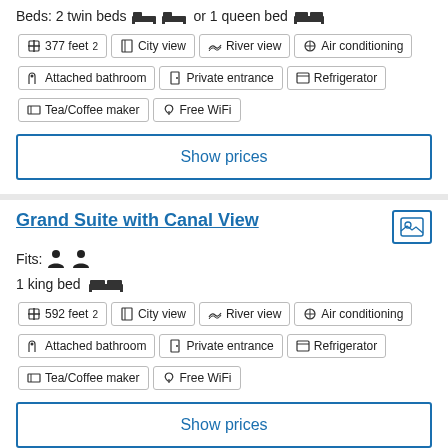Beds: 2 twin beds or 1 queen bed
377 feet²
City view
River view
Air conditioning
Attached bathroom
Private entrance
Refrigerator
Tea/Coffee maker
Free WiFi
Show prices
Grand Suite with Canal View
Fits: (2 persons)
1 king bed
592 feet²
City view
River view
Air conditioning
Attached bathroom
Private entrance
Refrigerator
Tea/Coffee maker
Free WiFi
Show prices